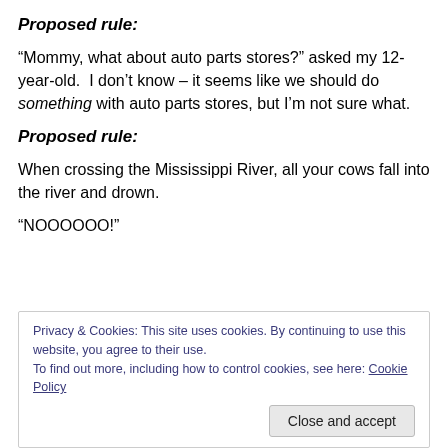Proposed rule:
“Mommy, what about auto parts stores?” asked my 12-year-old.  I don’t know – it seems like we should do something with auto parts stores, but I’m not sure what.
Proposed rule:
When crossing the Mississippi River, all your cows fall into the river and drown.
“NOOOOOO!”
Privacy & Cookies: This site uses cookies. By continuing to use this website, you agree to their use.
To find out more, including how to control cookies, see here: Cookie Policy
Close and accept